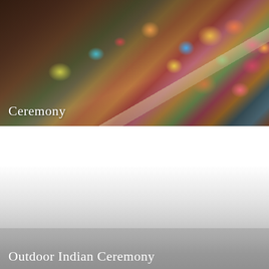[Figure (photo): Top image showing a large crowd of people in colorful traditional Indian attire seated on an ornate floor/carpet, viewed from an angle. A diagonal stripe or path cuts across the left portion of the image. The scene appears to be an indoor Indian ceremony with women in bright saris of pink, yellow, green, blue, orange and other colors. Label 'Ceremony' appears in white serif text at bottom left.]
[Figure (photo): Bottom partial image showing what appears to be an outdoor scene with heavy mist or fog, mostly white/grey tones. The label 'Outdoor Indian Ceremony' appears in white serif text at the bottom left, partially visible.]